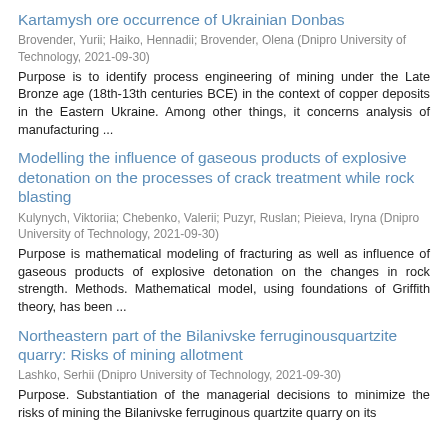Kartamysh ore occurrence of Ukrainian Donbas
Brovender, Yurii; Haiko, Hennadii; Brovender, Olena (Dnipro University of Technology, 2021-09-30)
Purpose is to identify process engineering of mining under the Late Bronze age (18th-13th centuries BCE) in the context of copper deposits in the Eastern Ukraine. Among other things, it concerns analysis of manufacturing ...
Modelling the influence of gaseous products of explosive detonation on the processes of crack treatment while rock blasting
Kulynych, Viktoriia; Chebenko, Valerii; Puzyr, Ruslan; Pieieva, Iryna (Dnipro University of Technology, 2021-09-30)
Purpose is mathematical modeling of fracturing as well as influence of gaseous products of explosive detonation on the changes in rock strength. Methods. Mathematical model, using foundations of Griffith theory, has been ...
Northeastern part of the Bilanivske ferruginousquartzite quarry: Risks of mining allotment
Lashko, Serhii (Dnipro University of Technology, 2021-09-30)
Purpose. Substantiation of the managerial decisions to minimize the risks of mining the Bilanivske ferruginous quartzite quarry on its